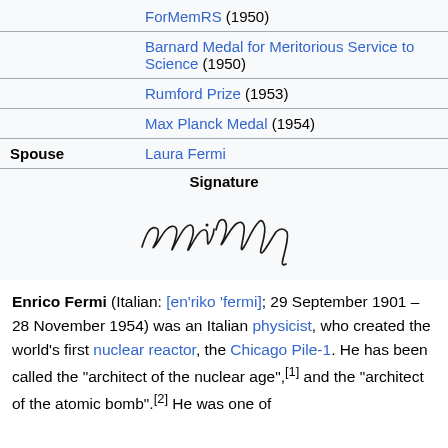|  | ForMemRS (1950) |
|  | Barnard Medal for Meritorious Service to Science (1950) |
|  | Rumford Prize (1953) |
|  | Max Planck Medal (1954) |
| Spouse | Laura Fermi |
| Signature |  |
[Figure (illustration): Enrico Fermi's handwritten signature in cursive script]
Enrico Fermi (Italian: [en'riko 'fermi]; 29 September 1901 – 28 November 1954) was an Italian physicist, who created the world's first nuclear reactor, the Chicago Pile-1. He has been called the "architect of the nuclear age",[1] and the "architect of the atomic bomb".[2] He was one of